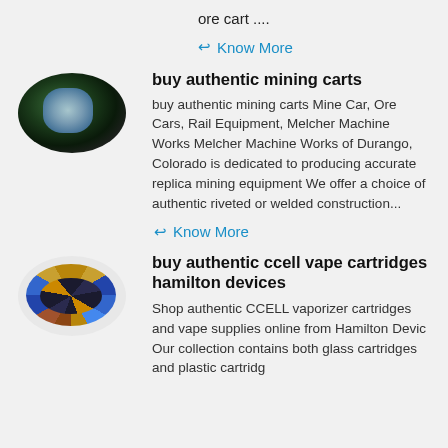ore cart ....
Know More
buy authentic mining carts
buy authentic mining carts Mine Car, Ore Cars, Rail Equipment, Melcher Machine Works Melcher Machine Works of Durango, Colorado is dedicated to producing accurate replica mining equipment We offer a choice of authentic riveted or welded construction...
Know More
buy authentic ccell vape cartridges hamilton devices
Shop authentic CCELL vaporizer cartridges and vape supplies online from Hamilton Devic Our collection contains both glass cartridges and plastic cartridg